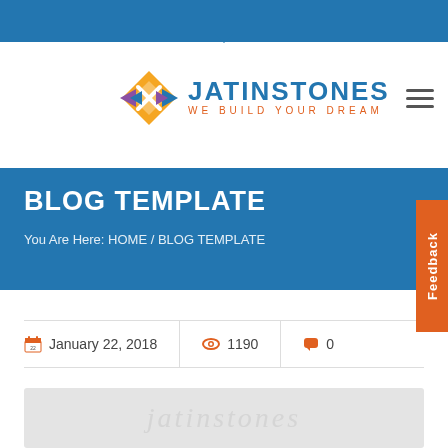Top navigation bar
[Figure (logo): JatinStones logo with diamond icon and tagline WE BUILD YOUR DREAM]
BLOG TEMPLATE
You Are Here: HOME / BLOG TEMPLATE
Feedback
January 22, 2018   1190   0
[Figure (photo): Blog post featured image placeholder with watermark text]